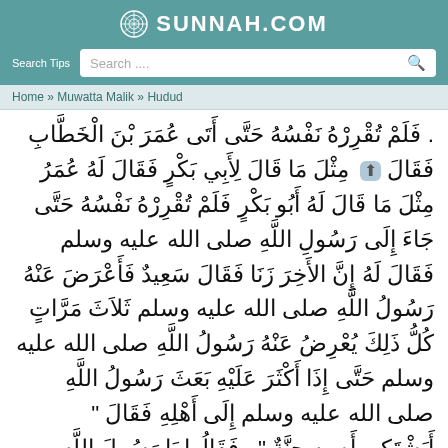SUNNAH.COM
Search Tips | Search...
Home » Muwatta Malik » Hudud
. فَلَمْ تُقْرِرْهُ نَفْسُهُ حَتَّى أَتَى عُمَرَ بْنَ الْخَطَّابِ فَقَالَ مِثْلَ مَا قَالَ لِأَبِي بَكْرٍ فَقَالَ لَهُ عُمَرُ مِثْلَ مَا قَالَ لَهُ أَبُو بَكْرٍ فَلَمْ تُقْرِرْهُ نَفْسُهُ حَتَّى جَاءَ إِلَى رَسُولِ اللَّهِ صلى الله عليه وسلم فَقَالَ لَهُ إِنَّ الأَخِرَ زَنَا فَقَالَ سَعِيدٌ فَأَعْرَضَ عَنْهُ رَسُولُ اللَّهِ صلى الله عليه وسلم ثَلاَثَ مَرَّاتٍ كُلُّ ذَلِكَ يُعْرِضُ عَنْهُ رَسُولُ اللَّهِ صلى الله عليه وسلم حَتَّى إِذَا أَكْثَرَ عَلَيْهِ بَعَثَ رَسُولُ اللَّهِ صلى الله عليه وسلم إِلَى أَهْلِهِ فَقَالَ " أَيَشْتَكِي أَم بِهِ جِنَّةٌ " . فَقَالُوا يَا رَسُولَ اللَّهِ